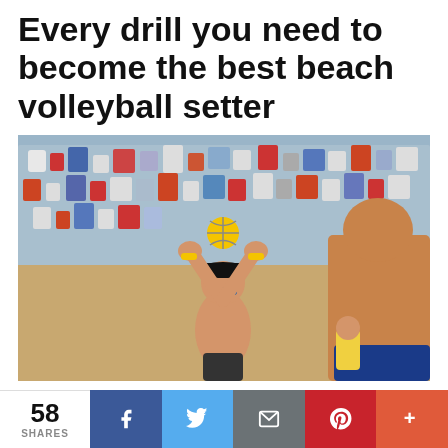Every drill you need to become the best beach volleyball setter
[Figure (photo): Beach volleyball player in sunglasses and cap setting the ball overhead with both hands raised, crowd in background, another shirtless player in foreground right]
If you're interested in this blog on beach volleyball
58 SHARES | Facebook | Twitter | Email | Pinterest | More